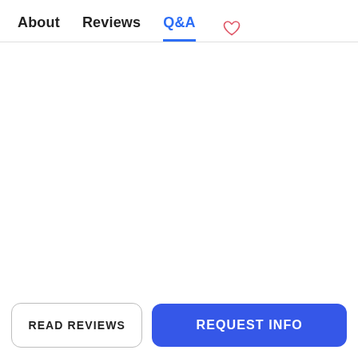About   Reviews   Q&A   ♡
READ REVIEWS
REQUEST INFO